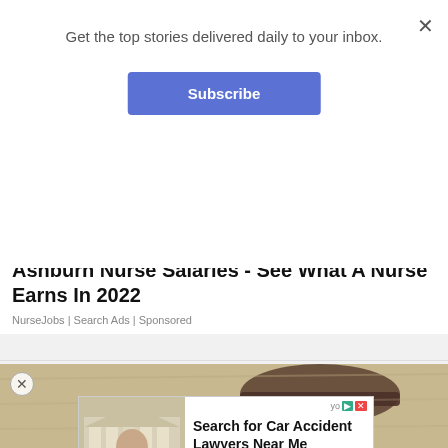Get the top stories delivered daily to your inbox.
Subscribe
[Figure (photo): Photo of a person sitting holding a cup, visible tattooed arm, gray shirt]
Ashburn Nurse Salaries - See What A Nurse Earns In 2022
NurseJobs | Search Ads | Sponsored
[Figure (photo): Sandy/texture background photo, partial view with close button]
[Figure (screenshot): Ad box: Search for Car Accident Lawyers Near Me, with photo of man in suit and Search Now button]